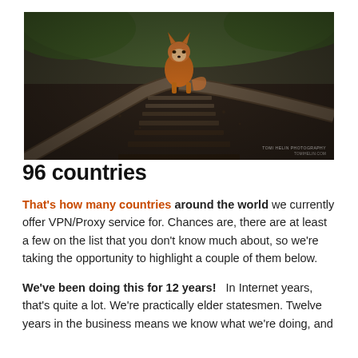[Figure (photo): A red fox sitting on railway tracks between two rails, photographed from a low angle. The background is blurred with green foliage. Dark gravel and metal rails visible. Small watermark text in bottom right corner reading 'TOMI HELIN PHOTOGRAPHY' or similar.]
96 countries
That's how many countries around the world we currently offer VPN/Proxy service for. Chances are, there are at least a few on the list that you don't know much about, so we're taking the opportunity to highlight a couple of them below.
We've been doing this for 12 years!   In Internet years, that's quite a lot. We're practically elder statesmen. Twelve years in the business means we know what we're doing, and